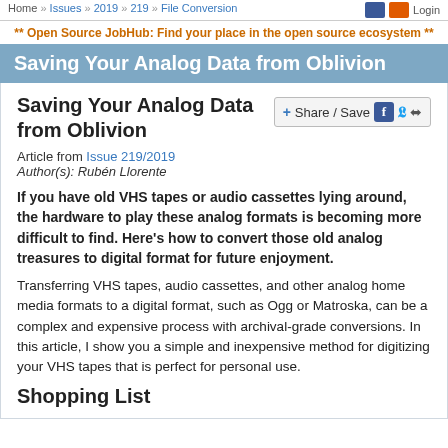Home » Issues » 2019 » 219 » File Conversion
** Open Source JobHub: Find your place in the open source ecosystem **
Saving Your Analog Data from Oblivion
Saving Your Analog Data from Oblivion
Article from Issue 219/2019
Author(s): Rubén Llorente
If you have old VHS tapes or audio cassettes lying around, the hardware to play these analog formats is becoming more difficult to find. Here's how to convert those old analog treasures to digital format for future enjoyment.
Transferring VHS tapes, audio cassettes, and other analog home media formats to a digital format, such as Ogg or Matroska, can be a complex and expensive process with archival-grade conversions. In this article, I show you a simple and inexpensive method for digitizing your VHS tapes that is perfect for personal use.
Shopping List